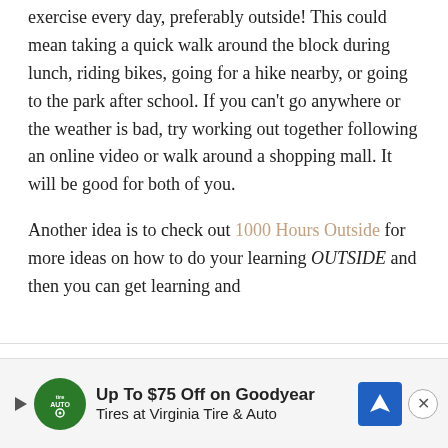exercise every day, preferably outside! This could mean taking a quick walk around the block during lunch, riding bikes, going for a hike nearby, or going to the park after school. If you can't go anywhere or the weather is bad, try working out together following an online video or walk around a shopping mall. It will be good for both of you.
Another idea is to check out 1000 Hours Outside for more ideas on how to do your learning OUTSIDE and then you can get learning and
This website uses cookies to improve your experience. We'll assume you're ok with this, but you can opt-out if you wish.
[Figure (infographic): Advertisement banner: Up To $75 Off on Goodyear Tires at Virginia Tire & Auto, with green Tire Auto logo, blue navigation icon, play button, and close (X) button]